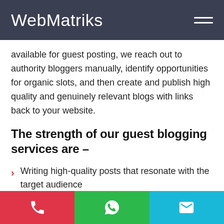WebMatriks
available for guest posting, we reach out to authority bloggers manually, identify opportunities for organic slots, and then create and publish high quality and genuinely relevant blogs with links back to your website.
The strength of our guest blogging services are –
Writing high-quality posts that resonate with the target audience
Manual outreach to websites that are ranking on Google with high DA